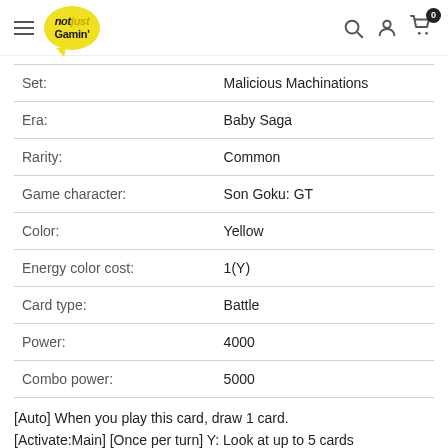notjustGamin'
| Set: | Malicious Machinations |
| Era: | Baby Saga |
| Rarity: | Common |
| Game character: | Son Goku: GT |
| Color: | Yellow |
| Energy color cost: | 1(Y) |
| Card type: | Battle |
| Power: | 4000 |
| Combo power: | 5000 |
[Auto] When you play this card, draw 1 card. [Activate:Main] [Once per turn] Y: Look at up to 5 cards from the top of your deck…